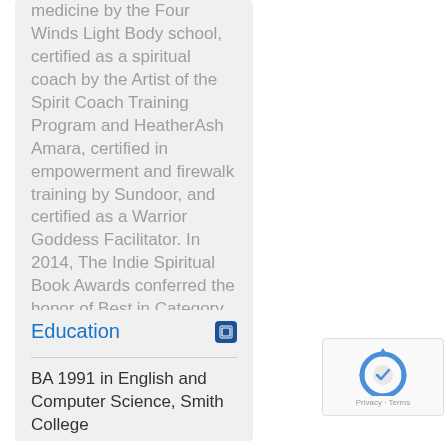medicine by the Four Winds Light Body school, certified as a spiritual coach by the Artist of the Spirit Coach Training Program and HeatherAsh Amara, certified in empowerment and firewalk training by Sundoor, and certified as a Warrior Goddess Facilitator. In 2014, The Indie Spiritual Book Awards conferred the honor of Best in Category to ... See All
▶ See All
Education
BA 1991 in English and Computer Science, Smith College
[Figure (other): reCAPTCHA logo with Privacy and Terms links]